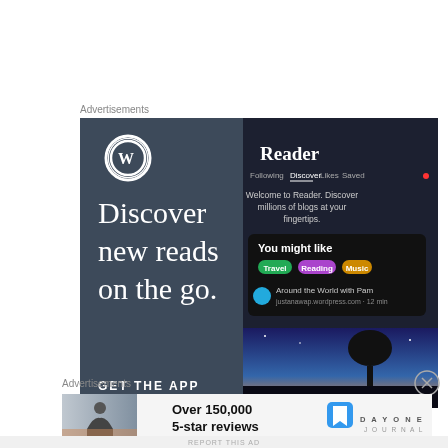Advertisements
[Figure (screenshot): WordPress app advertisement showing 'Discover new reads on the go.' with the WordPress logo, and a phone mockup showing the Reader interface with tabs: Following, Discover, Likes, Saved; a 'You might like' section with tags Travel, Reading, Music; and a landscape photo at the bottom. CTA: GET THE APP]
Advertisements
[Figure (screenshot): Day One Journal advertisement with a person silhouette photo and text 'Over 150,000 5-star reviews' alongside the Day One Journal logo.]